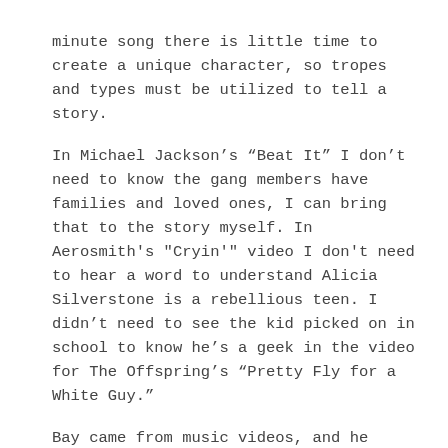minute song there is little time to create a unique character, so tropes and types must be utilized to tell a story.
In Michael Jackson's “Beat It” I don’t need to know the gang members have families and loved ones, I can bring that to the story myself. In Aerosmith's "Cryin'" video I don't need to hear a word to understand Alicia Silverstone is a rebellious teen. I didn’t need to see the kid picked on in school to know he’s a geek in the video for The Offspring’s “Pretty Fly for a White Guy."
Bay came from music videos, and he trusts the audience to be used to this shorthand storytelling and rapid cutting. This movie was aimed directly at those weaned on MTV. If we have already seen scads of movies that embody a trope, why recreate it?
That’s when it hit me: Bay wasn’t lazy, he was efficient! He